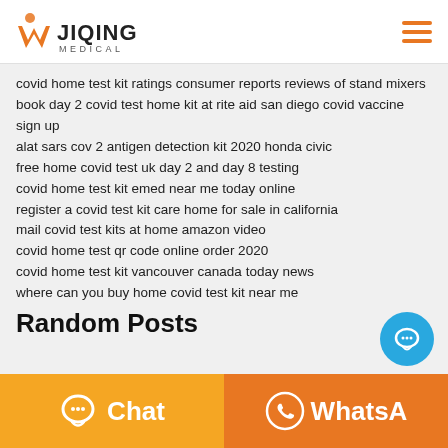JIQING MEDICAL
covid home test kit ratings consumer reports reviews of stand mixers
book day 2 covid test home kit at rite aid san diego covid vaccine sign up
alat sars cov 2 antigen detection kit 2020 honda civic
free home covid test uk day 2 and day 8 testing
covid home test kit emed near me today online
register a covid test kit care home for sale in california
mail covid test kits at home amazon video
covid home test qr code online order 2020
covid home test kit vancouver canada today news
where can you buy home covid test kit near me
Random Posts